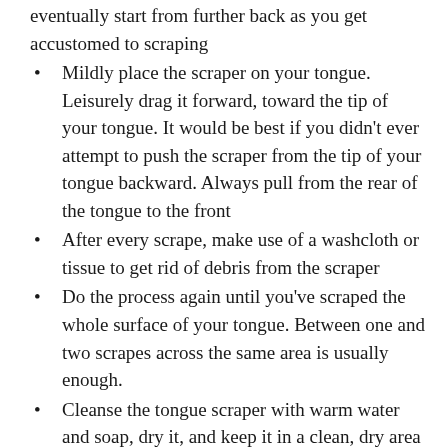eventually start from further back as you get accustomed to scraping
Mildly place the scraper on your tongue. Leisurely drag it forward, toward the tip of your tongue. It would be best if you didn’t ever attempt to push the scraper from the tip of your tongue backward. Always pull from the rear of the tongue to the front
After every scrape, make use of a washcloth or tissue to get rid of debris from the scraper
Do the process again until you’ve scraped the whole surface of your tongue. Between one and two scrapes across the same area is usually enough.
Cleanse the tongue scraper with warm water and soap, dry it, and keep it in a clean, dry area
The whole scraping process normally takes not more than two minutes. Redo the process as much